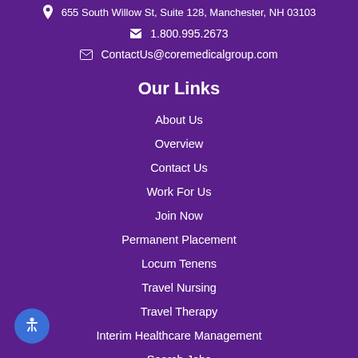655 South Willow St, Suite 128, Manchester, NH 03103
1.800.995.2673
ContactUs@coremedicalgroup.com
Our Links
About Us
Overview
Contact Us
Work For Us
Join Now
Permanent Placement
Locum Tenens
Travel Nursing
Travel Therapy
Interim Healthcare Management
Search Jobs
View Blog
Resources